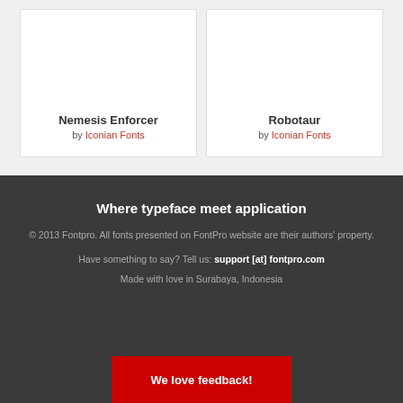Nemesis Enforcer by Iconian Fonts
Robotaur by Iconian Fonts
Where typeface meet application
© 2013 Fontpro. All fonts presented on FontPro website are their authors' property.
Have something to say? Tell us: support [at] fontpro.com
Made with love in Surabaya, Indonesia
We love feedback!